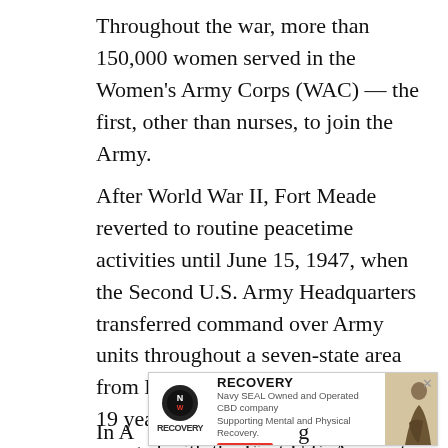Throughout the war, more than 150,000 women served in the Women's Army Corps (WAC) — the first, other than nurses, to join the Army.
After World War II, Fort Meade reverted to routine peacetime activities until June 15, 1947, when the Second U.S. Army Headquarters transferred command over Army units throughout a seven-state area from Baltimore to the post. Almost 19 years later, the Second U.S. Army merged with the First U.S. Army at the fort to administer Army installations in a 15-state region.
[Figure (other): Advertisement banner for Naked Warrior Recovery — Navy SEAL Owned and Operated CBD company Supporting Mental and Physical Recovery. Contains logo, title text, subtitle, shop now button, and a figure image.]
In A… g